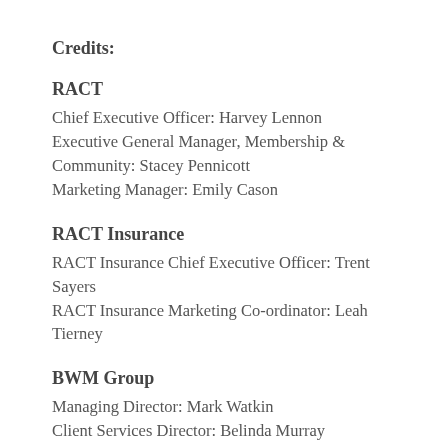Credits:
RACT
Chief Executive Officer: Harvey Lennon
Executive General Manager, Membership & Community: Stacey Pennicott
Marketing Manager: Emily Cason
RACT Insurance
RACT Insurance Chief Executive Officer: Trent Sayers
RACT Insurance Marketing Co-ordinator: Leah Tierney
BWM Group
Managing Director: Mark Watkin
Client Services Director: Belinda Murray